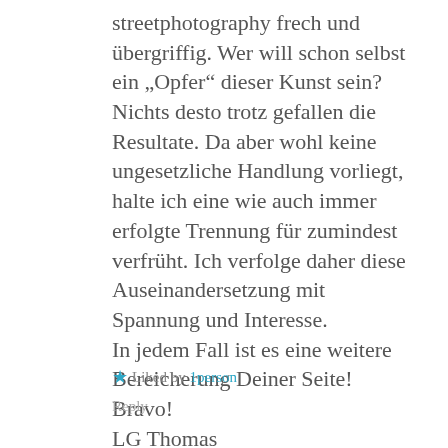streetphotography frech und übergriffig. Wer will schon selbst ein „Opfer“ dieser Kunst sein?
Nichts desto trotz gefallen die Resultate. Da aber wohl keine ungesetzliche Handlung vorliegt, halte ich eine wie auch immer erfolgte Trennung für zumindest verfrüht. Ich verfolge daher diese Auseinandersetzung mit Spannung und Interesse.
In jedem Fall ist es eine weitere Bereicherung Deiner Seite! Bravo!
LG Thomas
★ Liked by 1person
Reply